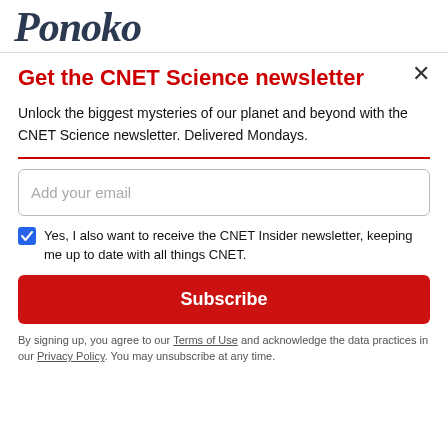[Figure (logo): Ponoko logo in dark navy italic serif font with a red circular icon partially visible at top right]
Get the CNET Science newsletter
Unlock the biggest mysteries of our planet and beyond with the CNET Science newsletter. Delivered Mondays.
Add your email
Yes, I also want to receive the CNET Insider newsletter, keeping me up to date with all things CNET.
Subscribe
By signing up, you agree to our Terms of Use and acknowledge the data practices in our Privacy Policy. You may unsubscribe at any time.